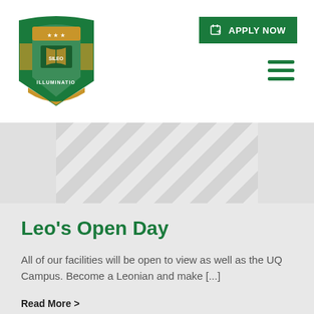[Figure (logo): St. Leo's College shield crest with green and gold colors, featuring a book and the text ILLUMINATIO]
APPLY NOW
[Figure (other): Diagonal striped banner in light grey tones]
Leo's Open Day
All of our facilities will be open to view as well as the UQ Campus. Become a Leonian and make [...]
Read More >